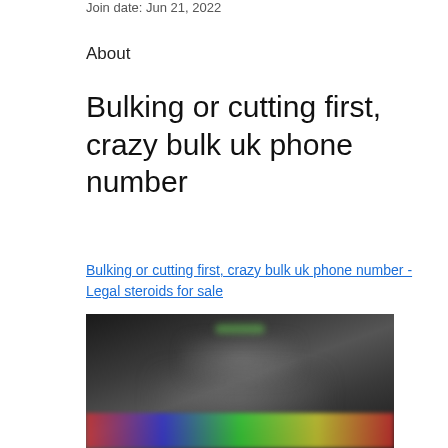Join date: Jun 21, 2022
About
Bulking or cutting first, crazy bulk uk phone number
Bulking or cutting first, crazy bulk uk phone number - Legal steroids for sale
[Figure (photo): Blurred dark image, possibly showing a person or product, with colorful elements at the bottom]